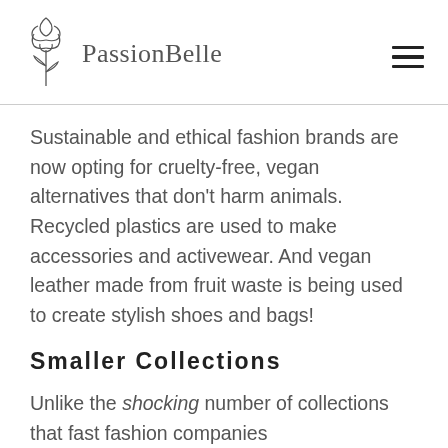PassionBelle
Sustainable and ethical fashion brands are now opting for cruelty-free, vegan alternatives that don't harm animals. Recycled plastics are used to make accessories and activewear. And vegan leather made from fruit waste is being used to create stylish shoes and bags!
Smaller Collections
Unlike the shocking number of collections that fast fashion companies